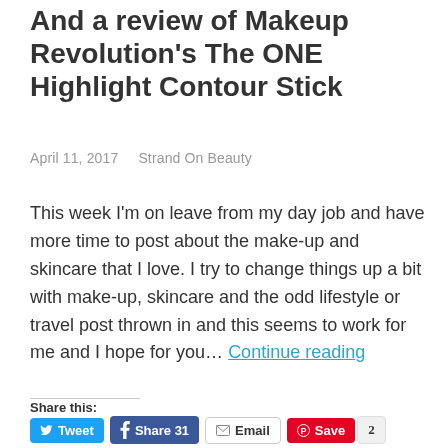And a review of Makeup Revolution's The ONE Highlight Contour Stick
April 11, 2017   Strand On Beauty
This week I'm on leave from my day job and have more time to post about the make-up and skincare that I love. I try to change things up a bit with make-up, skincare and the odd lifestyle or travel post thrown in and this seems to work for me and I hope for you… Continue reading
Share this:
Tweet | Share 31 | Email | Save 2 | SHARE | WhatsApp | Print